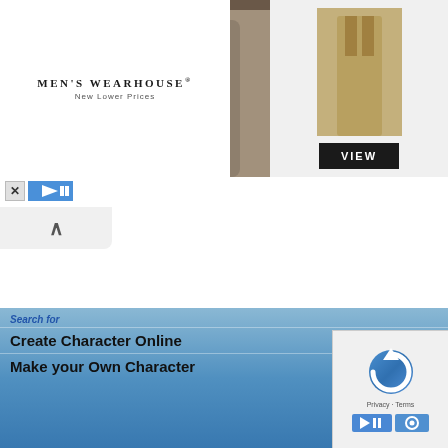[Figure (screenshot): Men's Wearhouse advertisement banner showing brand name 'MEN'S WEARHOUSE' with 'New Lower Prices' tagline, a couple in formal wear, a tan suit model, and a VIEW button]
[Figure (screenshot): Ad control icons: X close button and blue play button]
[Figure (screenshot): White content area with up-arrow tab and dashed vertical divider, black video panel on right]
THE NERDMUDGEON PODCAST
[Figure (logo): Nerdmudgeon podcast logo with yellow text on dark background]
Three middle-aged nerds (including yours truly!) review
[Figure (screenshot): Search dropdown overlay with blue gradient background showing search results: 'Search for', 'Create Character Online', 'Make your Own Character']
[Figure (screenshot): Google reCAPTCHA widget with rotating arrow icon and Privacy/Terms links, plus ad icons at bottom right]